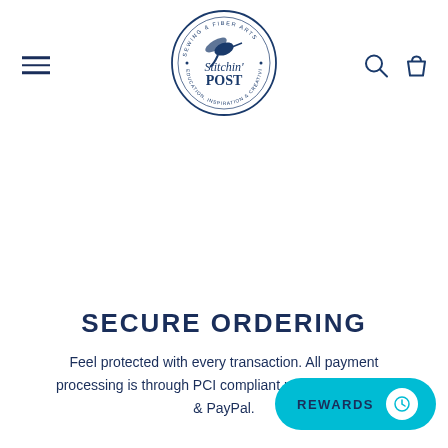[Figure (logo): Stitchin' Post sewing and fiber arts circular logo with hummingbird]
SECURE ORDERING
Feel protected with every transaction. All payment processing is through PCI compliant providers Shopify & PayPal.